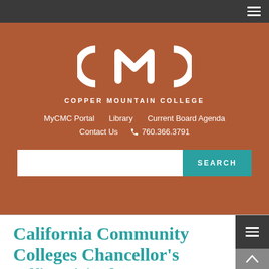[Figure (logo): Copper Mountain College logo — stylized CMC letters in white on brown background, with text COPPER MOUNTAIN COLLEGE below]
MyCMC Portal   Library   Current Board Agenda
Contact Us   760.366.3791
California Community Colleges Chancellor's Office visited CMC!